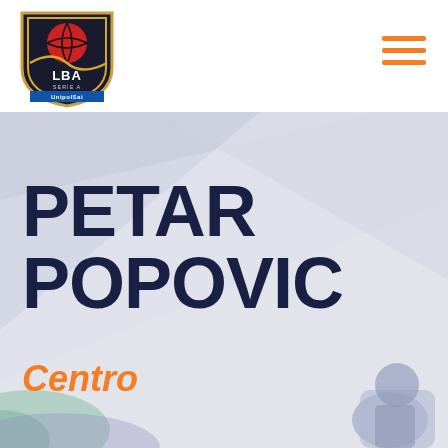[Figure (logo): LBA Serie A UnipolSai basketball league logo badge - red and gold shield with basketball]
[Figure (illustration): Hamburger menu icon with three orange horizontal lines in top right corner]
PETAR POPOVIC
Centro
[Figure (illustration): Abstract background with lavender/purple and grey-blue gradient triangular shapes, player silhouette bottom right, green blob bottom left]